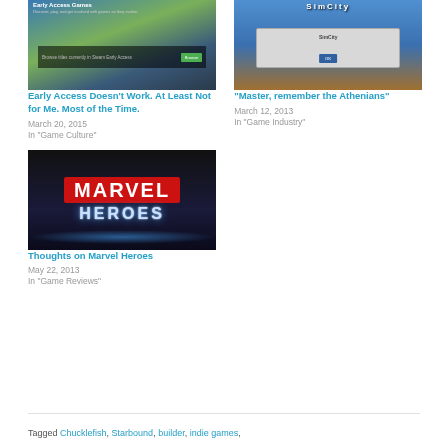[Figure (screenshot): Early Access Games Steam page screenshot showing game thumbnails and browse button]
Early Access Doesn't Work. At Least Not for Me. Most of the Time.
March 20, 2015
In "Game Culture"
[Figure (screenshot): SimCity game screenshot showing a dialog box over city skyline]
“Master, remember the Athenians”
March 12, 2013
In "Game Industry"
[Figure (screenshot): Marvel Heroes game logo on dark background with glowing Heroes text]
Thoughts on Marvel Heroes
May 22, 2013
In "Game Reviews"
Tagged Chucklefish, Starbound, builder, indie games,